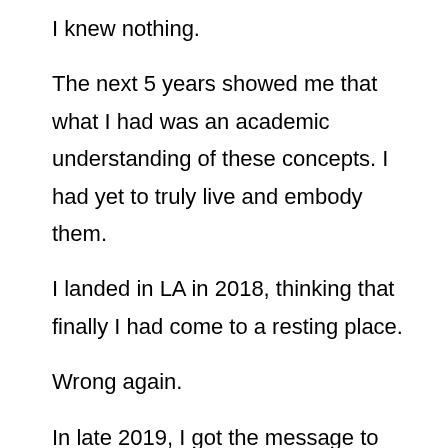I knew nothing.
The next 5 years showed me that what I had was an academic understanding of these concepts. I had yet to truly live and embody them.
I landed in LA in 2018, thinking that finally I had come to a resting place.
Wrong again.
In late 2019, I got the message to leave LA and move to Colorado. I arrived thinking that this would be a temporary stop before moving on to my next